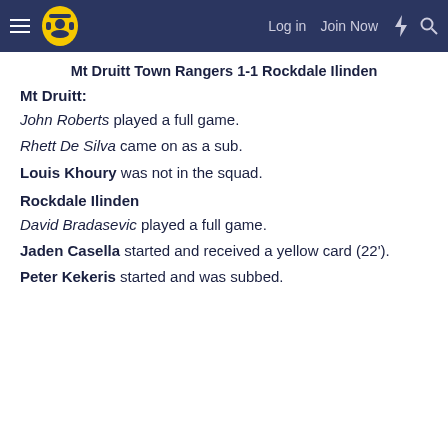Log in  Join Now
Mt Druitt Town Rangers 1-1 Rockdale Ilinden
Mt Druitt:
John Roberts played a full game.
Rhett De Silva came on as a sub.
Louis Khoury was not in the squad.
Rockdale Ilinden
David Bradasevic played a full game.
Jaden Casella started and received a yellow card (22').
Peter Kekeris started and was subbed.